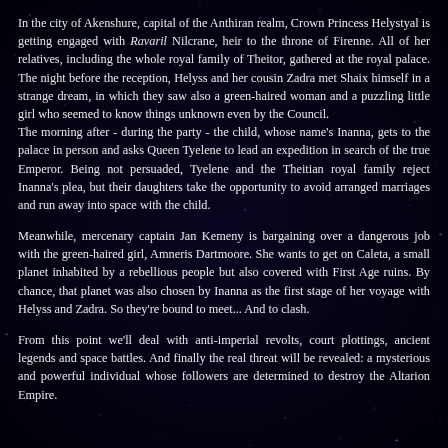In the city of Akenshure, capital of the Anthiran realm, Crown Princess Helystyal is getting engaged with Ravaril Nilcrane, heir to the throne of Firenne. All of her relatives, including the whole royal family of Theitor, gathered at the royal palace. The night before the reception, Helyss and her cousin Zadra met Shaix himself in a strange dream, in which they saw also a green-haired woman and a puzzling little girl who seemed to know things unknown even by the Council.
The morning after - during the party - the child, whose name's Inanna, gets to the palace in person and asks Queen Tyelene to lead an expedition in search of the true Emperor. Being not persuaded, Tyelene and the Theitian royal family reject Inanna's plea, but their daughters take the opportunity to avoid arranged marriages and run away into space with the child.
Meanwhile, mercenary captain Jan Kemeny is bargaining over a dangerous job with the green-haired girl, Amneris Dartmoore. She wants to get on Caleta, a small planet inhabited by a rebellious people but also covered with First Age ruins. By chance, that planet was also chosen by Inanna as the first stage of her voyage with Helyss and Zadra. So they're bound to meet... And to clash.
From this point we'll deal with anti-imperial revolts, court plottings, ancient legends and space battles. And finally the real threat will be revealed: a mysterious and powerful individual whose followers are determined to destroy the Altarion Empire.